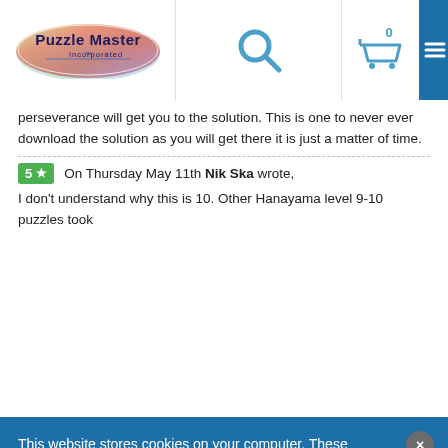[Figure (logo): Puzzle Master Incorporated logo - oval shape with colorful gradient and text]
perseverance will get you to the solution. This is one to never ever download the solution as you will get there it is just a matter of time.
5 ★  On Thursday May 11th Nik Ska wrote,
I don't understand why this is 10. Other Hanayama level 9-10 puzzles took
This website stores cookies on your computer. These cookies are used to collect information about how you interact with our website and allow us to remember you. We use this information in order to improve and customize your browsing experience and for analytics and metrics about our visitors both on this website and other media. To find out more about the cookies we use, see our Privacy Policy. If you continue to use this site we will assume that you acknowledge & approve.
I AGREE